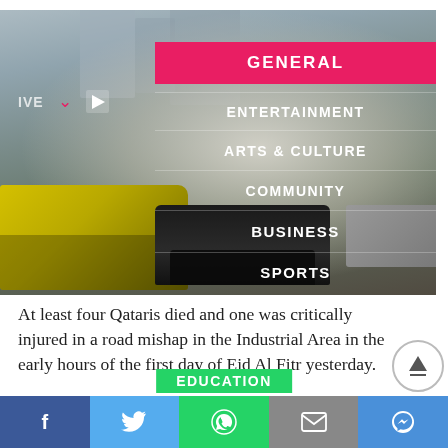[Figure (photo): Hero image showing a burning car with heavy smoke on a road, flanked by a yellow tow truck on the left and a grey vehicle on the right, set against a city skyline background. Overlaid navigation menu with pink GENERAL banner and white text menu items: ENTERTAINMENT, ARTS & CULTURE, COMMUNITY, BUSINESS, SPORTS.]
At least four Qataris died and one was critically injured in a road mishap in the Industrial Area in the early hours of the first day of Eid Al Fitr yesterday.
f  [Twitter]  EDUCATION [WhatsApp]  [Mail]  [Messenger]